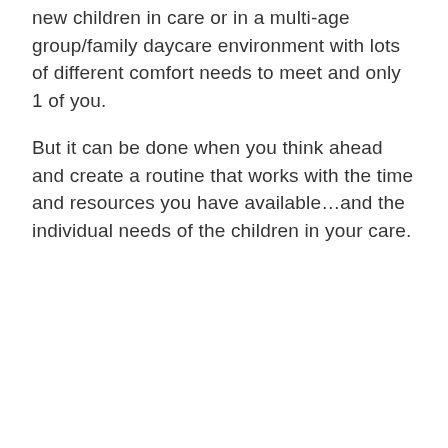new children in care or in a multi-age group/family daycare environment with lots of different comfort needs to meet and only 1 of you.
But it can be done when you think ahead and create a routine that works with the time and resources you have available…and the individual needs of the children in your care.